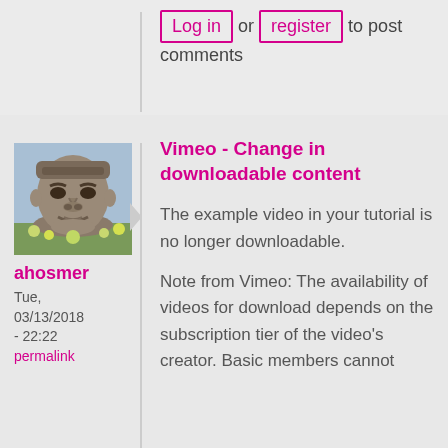Log in or register to post comments
[Figure (photo): Avatar photo of user ahosmer — an Olmec stone head statue outdoors]
ahosmer
Tue, 03/13/2018 - 22:22
permalink
Vimeo - Change in downloadable content
The example video in your tutorial is no longer downloadable.
Note from Vimeo: The availability of videos for download depends on the subscription tier of the video's creator. Basic members cannot